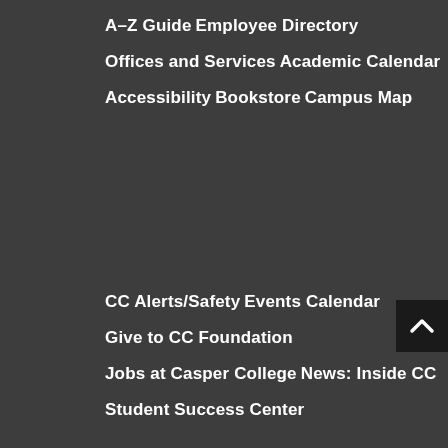A–Z Guide
Employee Directory
Offices and Services
Academic Calendar
Accessibility
Bookstore
Campus Map
CC Alerts/Safety
Events Calendar
Give to CC Foundation
Jobs at Casper College
News: Inside CC
Student Success Center